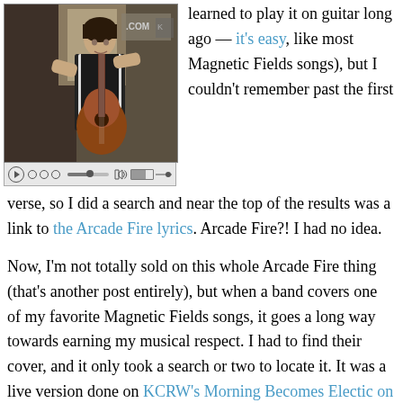[Figure (screenshot): Video player showing a person playing guitar, with playback controls bar at bottom]
learned to play it on guitar long ago — it's easy, like most Magnetic Fields songs), but I couldn't remember past the first verse, so I did a search and near the top of the results was a link to the Arcade Fire lyrics. Arcade Fire?! I had no idea.
Now, I'm not totally sold on this whole Arcade Fire thing (that's another post entirely), but when a band covers one of my favorite Magnetic Fields songs, it goes a long way towards earning my musical respect. I had to find their cover, and it only took a search or two to locate it. It was a live version done on KCRW's Morning Becomes Electic on January 17, 2005. You can